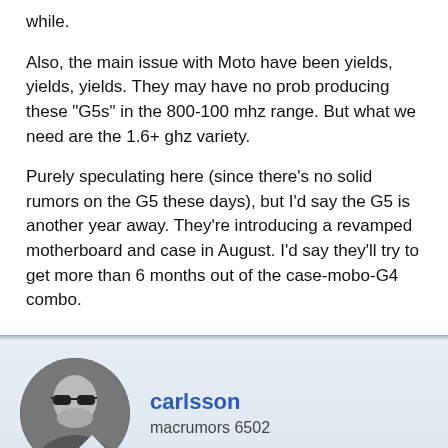while.
Also, the main issue with Moto have been yields, yields, yields. They may have no prob producing these "G5s" in the 800-100 mhz range. But what we need are the 1.6+ ghz variety.
Purely speculating here (since there's no solid rumors on the G5 these days), but I'd say the G5 is another year away. They're introducing a revamped motherboard and case in August. I'd say they'll try to get more than 6 months out of the case-mobo-G4 combo.
carlsson
macrumors 6502
Jul 23, 2002
Jaguar upgrade price